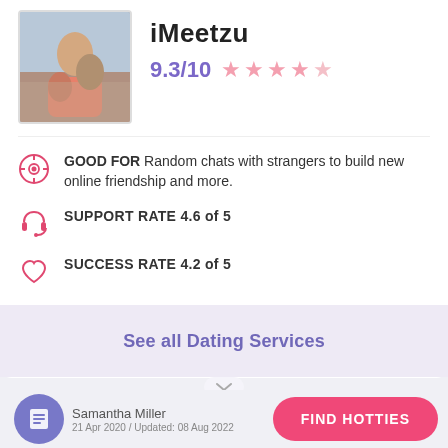[Figure (photo): Profile photo of a couple sitting on steps outdoors]
iMeetzu
9.3/10 ★★★★☆
GOOD FOR Random chats with strangers to build new online friendship and more.
SUPPORT RATE 4.6 of 5
SUCCESS RATE 4.2 of 5
READ FULL REVIEW
VISIT SITE
See all Dating Services
Samantha Miller
FIND HOTTIES
21 Apr 2020 / Updated: 08 Aug 2022